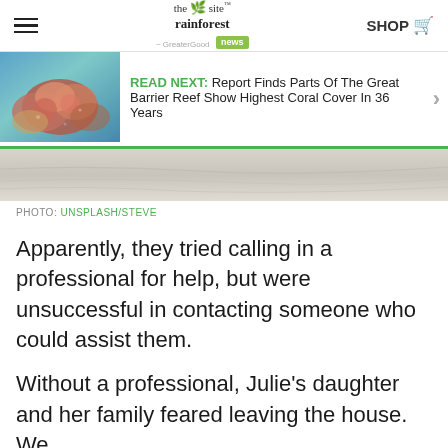the rainforest site · GreaterGood news | SHOP
[Figure (photo): READ NEXT banner with coral reef photo thumbnail. Text: READ NEXT: Report Finds Parts Of The Great Barrier Reef Show Highest Coral Cover In 36 Years]
[Figure (photo): Partial sandy/rocky surface photo strip at top of article]
PHOTO: UNSPLASH/STEVE
Apparently, they tried calling in a professional for help, but were unsuccessful in contacting someone who could assist them.
Without a professional, Julie's daughter and her family feared leaving the house. We